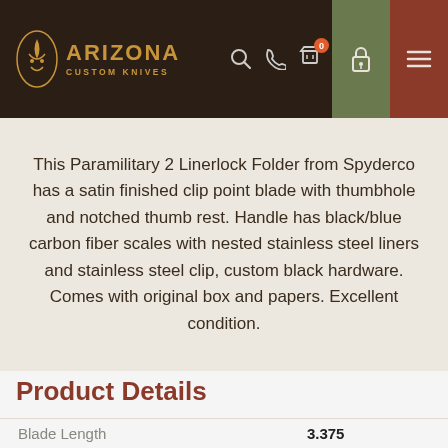ARIZONA CUSTOM KNIVES
This Paramilitary 2 Linerlock Folder from Spyderco has a satin finished clip point blade with thumbhole and notched thumb rest. Handle has black/blue carbon fiber scales with nested stainless steel liners and stainless steel clip, custom black hardware. Comes with original box and papers. Excellent condition.
Product Details
|  |  |
| --- | --- |
| Blade Length | 3.375 |
| Overall Length | 8.375 |